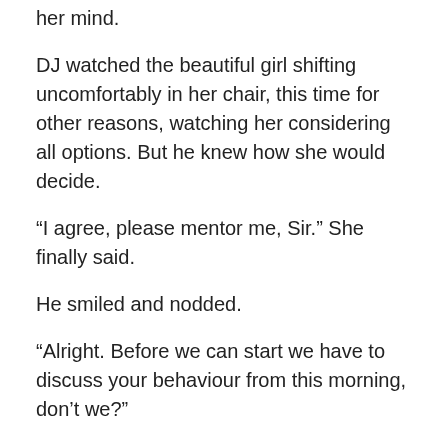her mind.
DJ watched the beautiful girl shifting uncomfortably in her chair, this time for other reasons, watching her considering all options. But he knew how she would decide.
“I agree, please mentor me, Sir.” She finally said.
He smiled and nodded.
“Alright. Before we can start we have to discuss your behaviour from this morning, don’t we?”
S looked down coyly, nodding unconsciously. “B..but Sir, … I have never been spanked before” (as an adult she meant but she didn’t say that)
This time DJ’s eyes widened. “Oh, I see, that explains a lot. You should have been and your behaviour would be